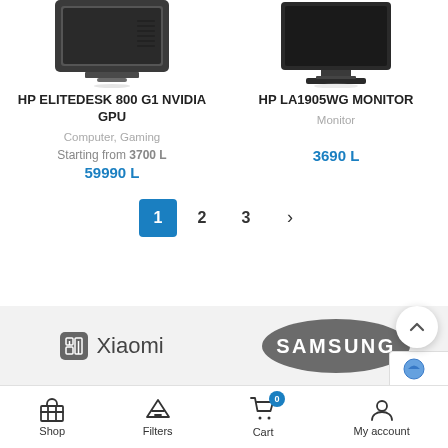[Figure (photo): HP EliteDesk 800 G1 desktop computer (dark), cropped top portion visible]
[Figure (photo): HP LA1905WG Monitor on stand, cropped top portion visible]
HP ELITEDESK 800 G1 NVIDIA GPU
Computer, Gaming
Starting from 3700 L
59990 L
HP LA1905WG MONITOR
Monitor
3690 L
1  2  3  >
[Figure (logo): Xiaomi logo with Mi icon and Xiaomi wordmark]
[Figure (logo): Samsung logo in white text on grey oval background]
Shop  Filters  Cart  My account